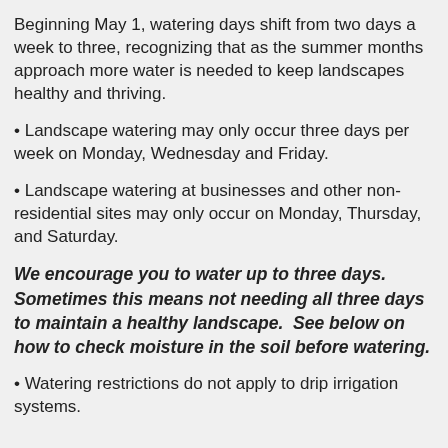Beginning May 1, watering days shift from two days a week to three, recognizing that as the summer months approach more water is needed to keep landscapes healthy and thriving.
• Landscape watering may only occur three days per week on Monday, Wednesday and Friday.
• Landscape watering at businesses and other non-residential sites may only occur on Monday, Thursday, and Saturday.
We encourage you to water up to three days. Sometimes this means not needing all three days to maintain a healthy landscape.  See below on how to check moisture in the soil before watering.
• Watering restrictions do not apply to drip irrigation systems.